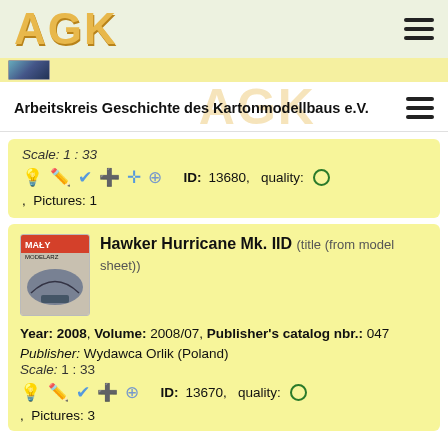AGK
Arbeitskreis Geschichte des Kartonmodellbaus e.V.
Scale: 1 : 33
ID: 13680, quality: O
, Pictures: 1
Hawker Hurricane Mk. IID (title (from model sheet))
Year: 2008, Volume: 2008/07, Publisher's catalog nbr.: 047
Publisher: Wydawca Orlik (Poland)
Scale: 1 : 33
ID: 13670, quality: O
, Pictures: 3